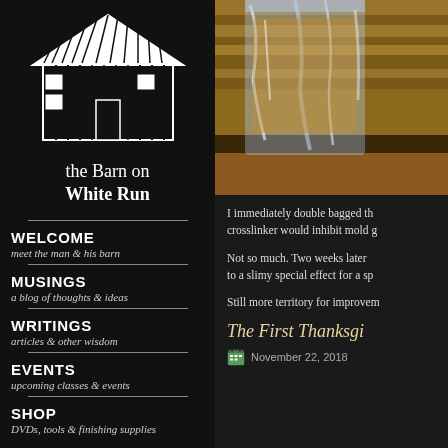[Figure (logo): White line drawing of a barn building on black background]
the Barn on White Run
WELCOME
meet the man & his barn
MUSINGS
a blog of thoughts & ideas
WRITINGS
articles & other wisdom
EVENTS
upcoming classes & events
SHOP
DVDs, tools & finishing supplies
[Figure (photo): Close-up photo of plastic bags over wooden boards, showing amber/golden colored materials inside clear plastic packaging]
I immediately double bagged the crosslinker would inhibit mold g
Not so much. Two weeks later to a slimy special effect for a sp
Still more territory for improvem
The First Thanksgi
November 22, 2018